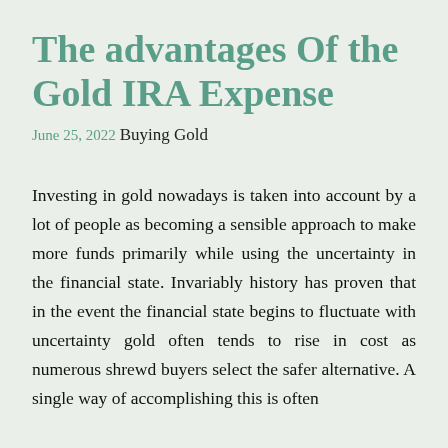The advantages Of the Gold IRA Expense
June 25, 2022
Buying Gold
Investing in gold nowadays is taken into account by a lot of people as becoming a sensible approach to make more funds primarily while using the uncertainty in the financial state. Invariably history has proven that in the event the financial state begins to fluctuate with uncertainty gold often tends to rise in cost as numerous shrewd buyers select the safer alternative. A single way of accomplishing this is often